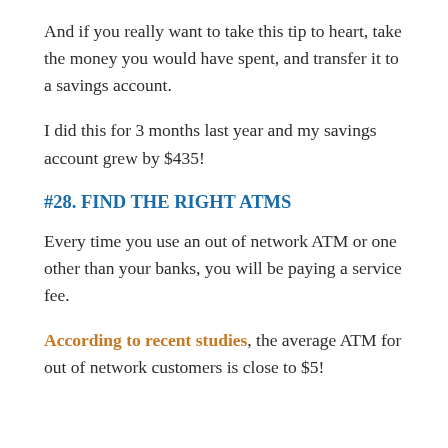And if you really want to take this tip to heart, take the money you would have spent, and transfer it to a savings account.
I did this for 3 months last year and my savings account grew by $435!
#28. FIND THE RIGHT ATMS
Every time you use an out of network ATM or one other than your banks, you will be paying a service fee.
According to recent studies, the average ATM for out of network customers is close to $5!